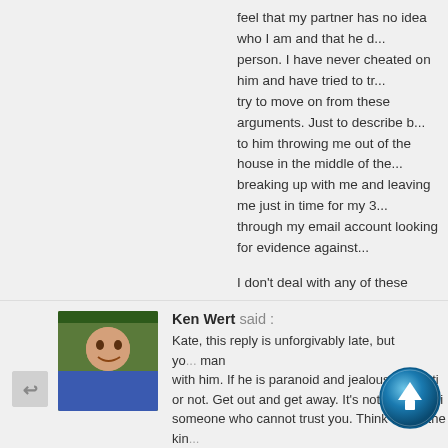feel that my partner has no idea who I am and that he d... person. I have never cheated on him and have tried to tr... try to move on from these arguments. Just to describe b... to him throwing me out of the house in the middle of the... breaking up with me and leaving me just in time for my 3... through my email account looking for evidence against...
I don't deal with any of these problems well and I shout,... the things described in the article. Looking back on what... don't think I ever did any of those things before his para... although I am aware that this may be my opinion and hi...
Is there ever a situation when reacting in the ways desc... acceptable or if not acceptable then maybe understand...
I don't have anyone to talk to about this. I want to stop t... this behaviour. I'm lost, so I'd love to hear some thought...
Ken Wert said : Kate, this reply is unforgivably late, but yo... man with him. If he is paranoid and jealous no... sti... or not. Get out and get away. It's not your... x hi... someone who cannot trust you. Think about the kin...